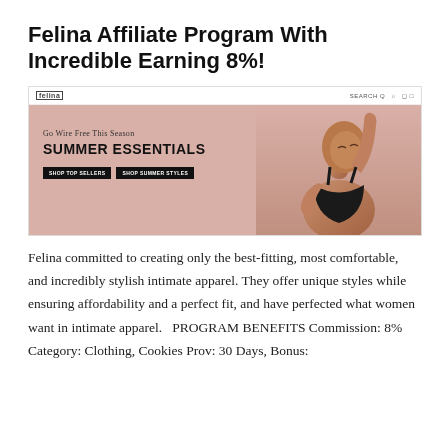Felina Affiliate Program With Incredible Earning 8%!
[Figure (screenshot): Screenshot of the Felina website showing a navigation bar with the Felina logo and search/account icons, and a hero banner with a pink background featuring a model wearing a black bra. Text reads 'Go Wire Free This Season' and 'SUMMER ESSENTIALS' with two buttons: 'SHOP TOP SELLERS' and 'SHOP SUMMER STYLES'.]
Felina committed to creating only the best-fitting, most comfortable, and incredibly stylish intimate apparel. They offer unique styles while ensuring affordability and a perfect fit, and have perfected what women want in intimate apparel.   PROGRAM BENEFITS Commission: 8% Category: Clothing, Cookies Prov: 30 Days, Bonus: